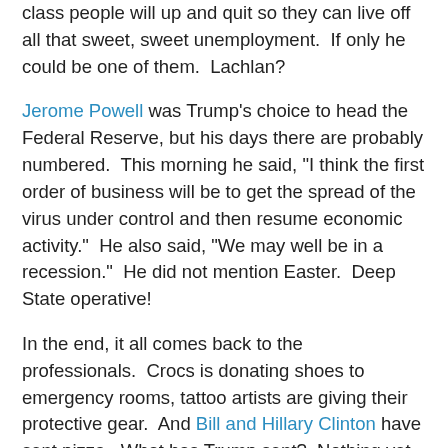class people will up and quit so they can live off all that sweet, sweet unemployment.  If only he could be one of them.  Lachlan?
Jerome Powell was Trump's choice to head the Federal Reserve, but his days there are probably numbered.  This morning he said, "I think the first order of business will be to get the spread of the virus under control and then resume economic activity."  He also said, "We may well be in a recession."  He did not mention Easter.  Deep State operative!
In the end, it all comes back to the professionals.  Crocs is donating shoes to emergency rooms, tattoo artists are giving their protective gear.  And Bill and Hillary Clinton have sent pizza.  What has Trump sent?  Nothing yet, but he wants to send troops to the Canadian border so the "Chinese virus" won't sneak in.  Canada says it's not a good idea, but what do they know?  Trudeau is not a wartime prime minister.
At least we know that nobody could have anticipated this -- except the National Security Council, which produced a 69-